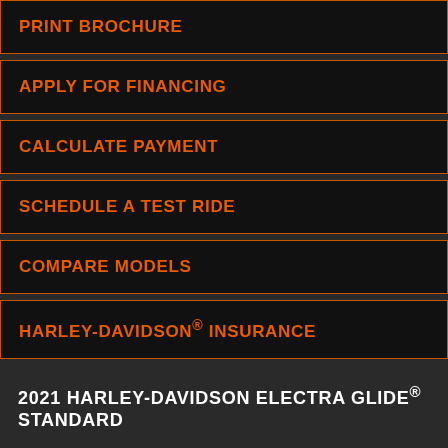PRINT BROCHURE
APPLY FOR FINANCING
CALCULATE PAYMENT
SCHEDULE A TEST RIDE
COMPARE MODELS
HARLEY-DAVIDSON® INSURANCE
2021 HARLEY-DAVIDSON ELECTRA GLIDE® STANDARD
Share: